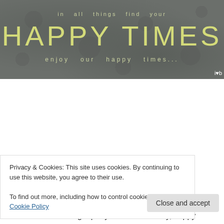[Figure (illustration): Blog header banner with dark grey background and floral/leaf pattern. Text reads 'in all things find your' in small caps above large yellow text 'HAPPY TIMES' and smaller text 'enjoy our happy times...' below. Small heart icon bottom right.]
Adventures from Our Weekend
It is pretty crazy to me that time is already into the second week of OCTOBER... how can this be? Somehow it is
Privacy & Cookies: This site uses cookies. By continuing to use this website, you agree to their use.
To find out more, including how to control cookies, see here: Cookie Policy
around we are doing a party dance! Seriously, happy